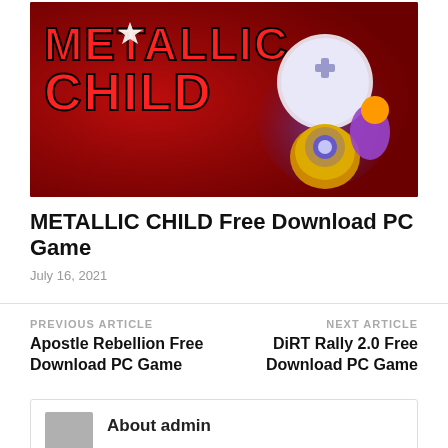[Figure (photo): METALLIC CHILD video game banner image with red background, large bold game title text 'METALLIC CHILD' in red on left, and a robot/mech character with white helmet and plus symbol on right side]
METALLIC CHILD Free Download PC Game
July 16, 2021
PREVIOUS ARTICLE
Apostle Rebellion Free Download PC Game
NEXT ARTICLE
DiRT Rally 2.0 Free Download PC Game
About admin